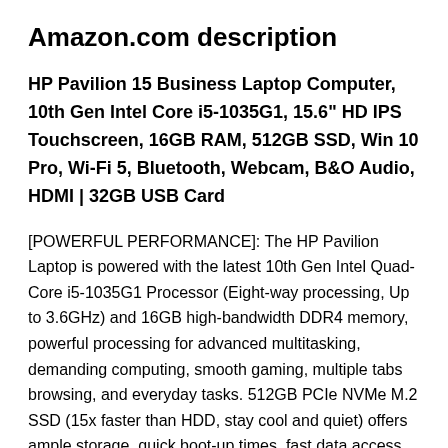Amazon.com description
HP Pavilion 15 Business Laptop Computer, 10th Gen Intel Core i5-1035G1, 15.6" HD IPS Touchscreen, 16GB RAM, 512GB SSD, Win 10 Pro, Wi-Fi 5, Bluetooth, Webcam, B&O Audio, HDMI | 32GB USB Card
[POWERFUL PERFORMANCE]: The HP Pavilion Laptop is powered with the latest 10th Gen Intel Quad-Core i5-1035G1 Processor (Eight-way processing, Up to 3.6GHz) and 16GB high-bandwidth DDR4 memory, powerful processing for advanced multitasking, demanding computing, smooth gaming, multiple tabs browsing, and everyday tasks. 512GB PCIe NVMe M.2 SSD (15x faster than HDD, stay cool and quiet) offers ample storage, quick boot-up times, fast data access, and improves the overall